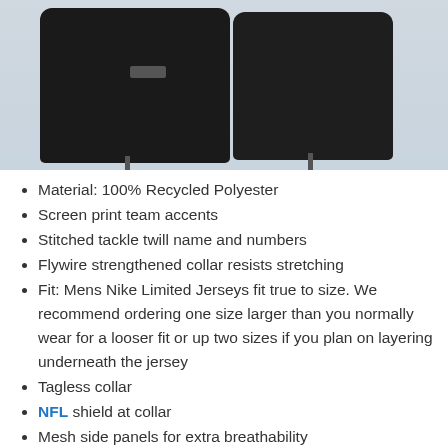[Figure (photo): Two black Nike NFL jerseys displayed on hangers against a light blue/grey background. The left jersey has a small logo patch on the front.]
Material: 100% Recycled Polyester
Screen print team accents
Stitched tackle twill name and numbers
Flywire strengthened collar resists stretching
Fit: Mens Nike Limited Jerseys fit true to size. We recommend ordering one size larger than you normally wear for a looser fit or up two sizes if you plan on layering underneath the jersey
Tagless collar
NFL shield at collar
Mesh side panels for extra breathability
Satin twill woven jock tag
Machine wash
Officially licensed
Imported
Brand: Nike
Keywords: authentic nfl jerseys cheap, cheap jerseys nfl, cheap nfl authentic jerseys, cheap nfl...